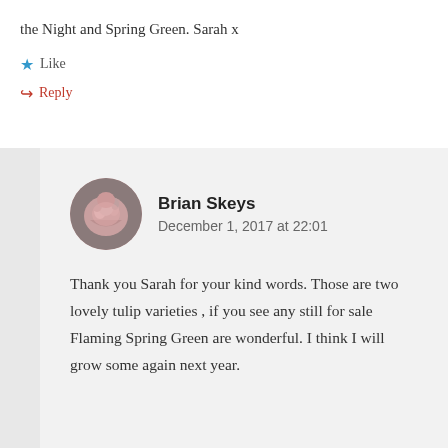the Night and Spring Green. Sarah x
★ Like
↪ Reply
Brian Skeys
December 1, 2017 at 22:01
Thank you Sarah for your kind words. Those are two lovely tulip varieties , if you see any still for sale Flaming Spring Green are wonderful. I think I will grow some again next year.